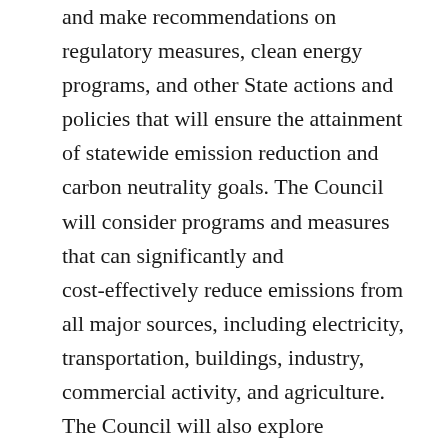and make recommendations on regulatory measures, clean energy programs, and other State actions and policies that will ensure the attainment of statewide emission reduction and carbon neutrality goals. The Council will consider programs and measures that can significantly and cost-effectively reduce emissions from all major sources, including electricity, transportation, buildings, industry, commercial activity, and agriculture. The Council will also explore opportunities for the beneficial electrification of transportation and heating of buildings as a means to drive substantial and deep emissions reductions. Finally, the Council will make recommendations to ensure a just transition to